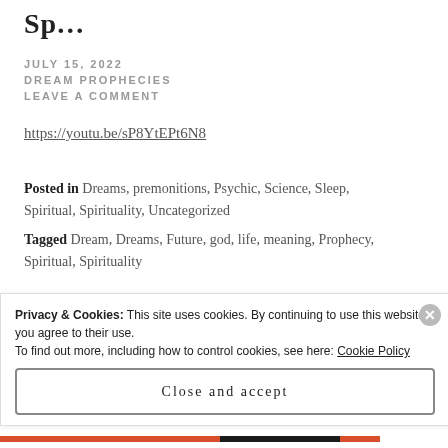Sp...
JULY 15, 2022
DREAM PROPHECIES
LEAVE A COMMENT
https://youtu.be/sP8YtEPt6N8
Posted in Dreams, premonitions, Psychic, Science, Sleep, Spiritual, Spirituality, Uncategorized
Tagged Dream, Dreams, Future, god, life, meaning, Prophecy, Spiritual, Spirituality
Privacy & Cookies: This site uses cookies. By continuing to use this website, you agree to their use.
To find out more, including how to control cookies, see here: Cookie Policy
Close and accept